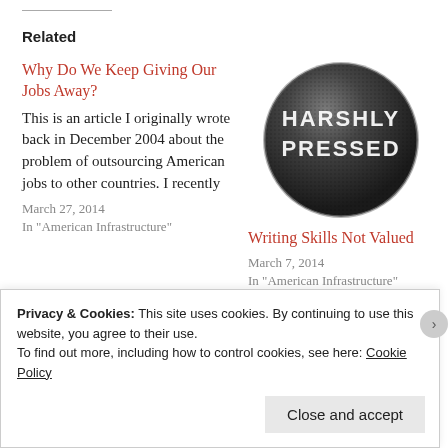Related
Why Do We Keep Giving Our Jobs Away?
This is an article I originally wrote back in December 2004 about the problem of outsourcing American jobs to other countries. I recently
March 27, 2014
In "American Infrastructure"
[Figure (logo): Dark circular badge/button with text HARSHLY PRESSED in white letters on textured dark background]
Writing Skills Not Valued
March 7, 2014
In "American Infrastructure"
What Was He Thinking??
Privacy & Cookies: This site uses cookies. By continuing to use this website, you agree to their use.
To find out more, including how to control cookies, see here: Cookie Policy
Close and accept